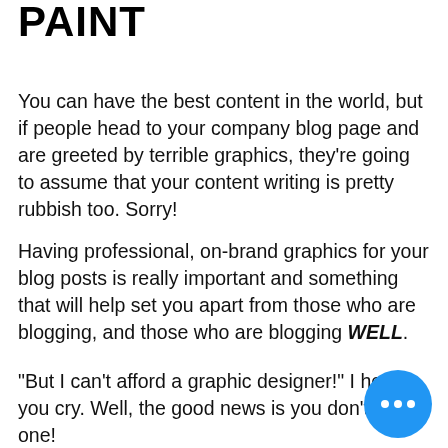PAINT
You can have the best content in the world, but if people head to your company blog page and are greeted by terrible graphics, they're going to assume that your content writing is pretty rubbish too. Sorry!
Having professional, on-brand graphics for your blog posts is really important and something that will help set you apart from those who are blogging, and those who are blogging WELL.
"But I can't afford a graphic designer!" I hear you cry. Well, the good news is you don't need one!